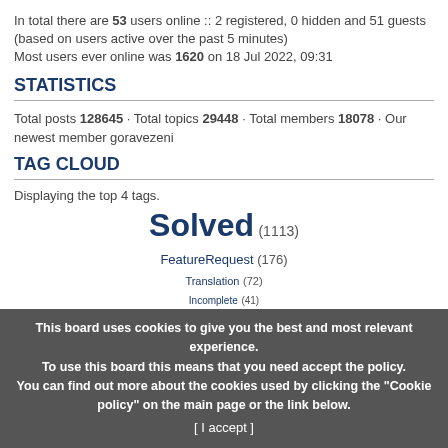In total there are 53 users online :: 2 registered, 0 hidden and 51 guests (based on users active over the past 5 minutes) Most users ever online was 1620 on 18 Jul 2022, 09:31
STATISTICS
Total posts 128645 · Total topics 29448 · Total members 18078 · Our newest member goravezeni
TAG CLOUD
Displaying the top 4 tags.
Solved (1113)
FeatureRequest (176)
Translation (72)
Incomplete (41)
This board uses cookies to give you the best and most relevant experience. To use this board this means that you need accept the policy. You can find out more about the cookies used by clicking the "Cookie policy" on the main page or the link below. [ I accept ]